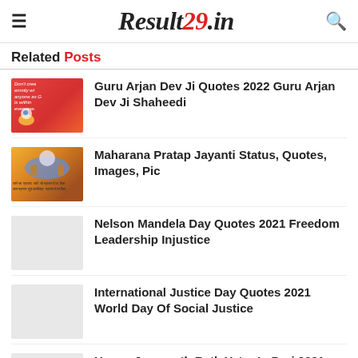Result29.in
Related Posts
Guru Arjan Dev Ji Quotes 2022 Guru Arjan Dev Ji Shaheedi
Maharana Pratap Jayanti Status, Quotes, Images, Pic
Nelson Mandela Day Quotes 2021 Freedom Leadership Injustice
International Justice Day Quotes 2021 World Day Of Social Justice
Happy Jagarnath Rath Yatra In Puri 2021 Images Wishes, Quotes, Messages